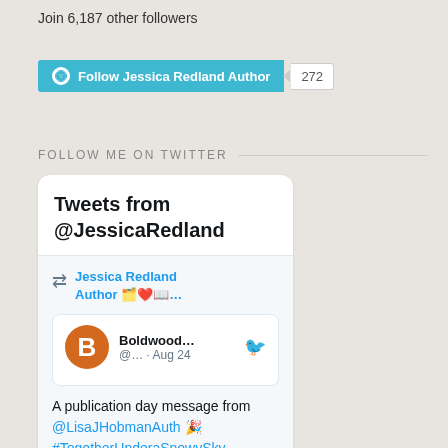Join 6,187 other followers
[Figure (other): WordPress Follow Jessica Redland Author button with follower count 272]
FOLLOW ME ON TWITTER
[Figure (screenshot): Twitter widget showing Tweets from @JessicaRedland. A retweet by Jessica Redland Author of a Boldwood... tweet from Aug 24: 'A publication day message from @LisaJHobmanAuth 🎉 #TogetherUnderaSnowySkye is out today!']